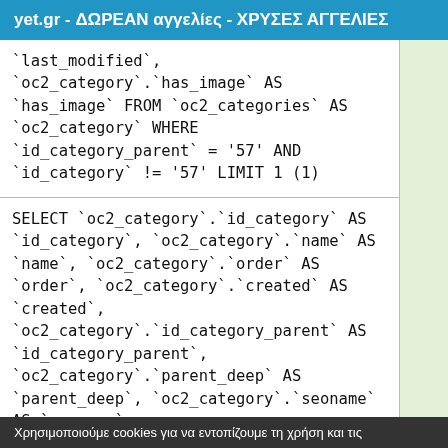yet.gr - ΔΩΡΕΑΝ αγγελίες - ΧΡΥΣΕΣ ΑΓΓΕΛΙΕΣ
`last_modified`, `oc2_category`.`has_image` AS `has_image` FROM `oc2_categories` AS `oc2_category` WHERE `id_category_parent` = '57' AND `id_category` != '57' LIMIT 1 (1)
SELECT `oc2_category`.`id_category` AS `id_category`, `oc2_category`.`name` AS `name`, `oc2_category`.`order` AS `order`, `oc2_category`.`created` AS `created`, `oc2_category`.`id_category_parent` AS `id_category_parent`, `oc2_category`.`parent_deep` AS `parent_deep`, `oc2_category`.`seoname` AS `seoname`, `oc2_category`.`description` AS `description`, `oc2_category`.`price` AS `price`, `oc2_category`.`last_modified` AS
Χρησιμοποιούμε cookies για να εντοπίζουμε τη χρήση και τις